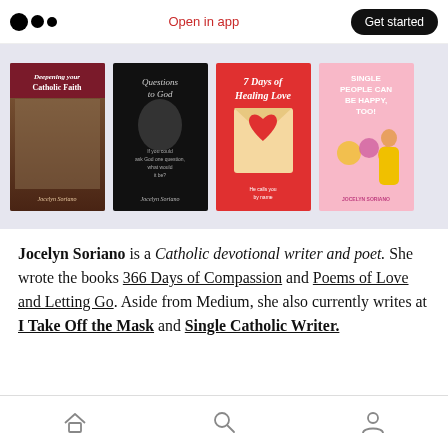Medium logo | Open in app | Get started
[Figure (illustration): Four book covers by Jocelyn Soriano: Catholic Faith, Questions to God, 7 Days of Healing Love, Single People Can Be Happy Too]
Jocelyn Soriano is a Catholic devotional writer and poet. She wrote the books 366 Days of Compassion and Poems of Love and Letting Go. Aside from Medium, she also currently writes at I Take Off the Mask and Single Catholic Writer.
Home | Search | Profile navigation icons